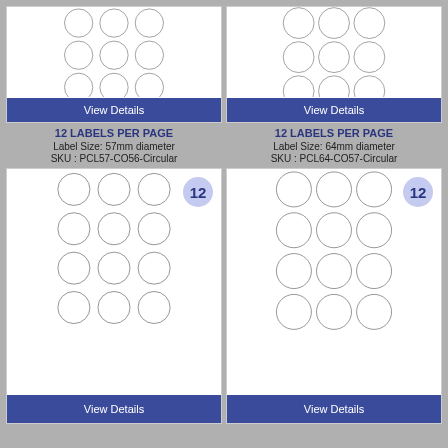[Figure (illustration): Top-left label sheet showing circular labels in a 3-column grid, partially cropped, with blue 'View Details' button]
[Figure (illustration): Top-right label sheet showing circular labels in a 3-column grid, partially cropped, with blue 'View Details' button]
12 LABELS PER PAGE
Label Size: 57mm diameter
SKU : PCL57-CO56-Circular
12 LABELS PER PAGE
Label Size: 64mm diameter
SKU : PCL64-CO57-Circular
[Figure (illustration): Bottom-left label sheet with 12 circular labels in 3x4 grid, badge showing '12', and blue 'View Details' button]
[Figure (illustration): Bottom-right label sheet with 12 circular labels in 3x4 grid, badge showing '12', and blue 'View Details' button]